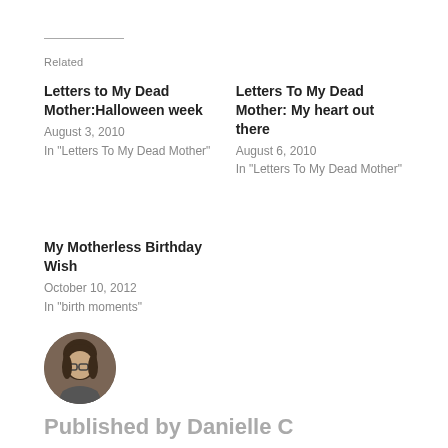Related
Letters to My Dead Mother:Halloween week
August 3, 2010
In "Letters To My Dead Mother"
Letters To My Dead Mother: My heart out there
August 6, 2010
In "Letters To My Dead Mother"
My Motherless Birthday Wish
October 10, 2012
In "birth moments"
[Figure (photo): Circular avatar portrait of Danielle C, a woman with glasses and brown hair]
Published by Danielle C
My world as a stay-at-home and motherless mama. Autism lives here too. View all posts by Danielle C